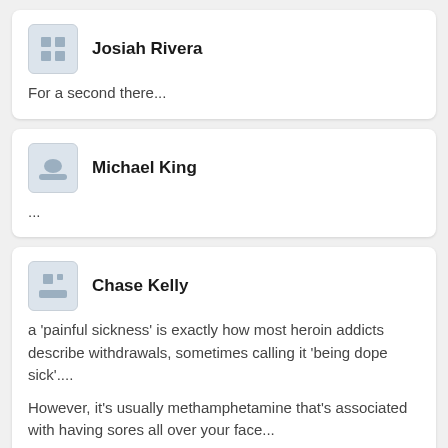Josiah Rivera — For a second there...
Michael King — ...
Chase Kelly — a 'painful sickness' is exactly how most heroin addicts describe withdrawals, sometimes calling it 'being dope sick'.... However, it's usually methamphetamine that's associated with having sores all over your face... Is it possible you're 'speedballing', mixing heroin and methamphetamine together?